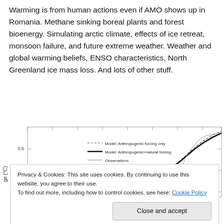Warming is from human actions even if AMO shows up in Romania. Methane sinking boreal plants and forest bioenergy. Simulating arctic climate, effects of ice retreat, monsoon failure, and future extreme weather. Weather and global warming beliefs, ENSO characteristics, North Greenland ice mass loss. And lots of other stuff.
[Figure (continuous-plot): Line chart showing temperature change (°C) over time with three series: Model Anthropogenic forcing only (dashed), Model Anthropogenic+natural forcing (solid bold), and Observations (thin solid). Y-axis shows values around 0.0, 0.4, 0.6. Lines rise steeply in the rightmost portion of the chart.]
Privacy & Cookies: This site uses cookies. By continuing to use this website, you agree to their use.
To find out more, including how to control cookies, see here: Cookie Policy